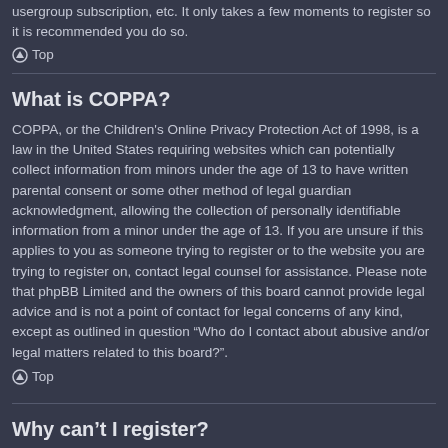usergroup subscription, etc. It only takes a few moments to register so it is recommended you do so.
⌃ Top
What is COPPA?
COPPA, or the Children's Online Privacy Protection Act of 1998, is a law in the United States requiring websites which can potentially collect information from minors under the age of 13 to have written parental consent or some other method of legal guardian acknowledgment, allowing the collection of personally identifiable information from a minor under the age of 13. If you are unsure if this applies to you as someone trying to register or to the website you are trying to register on, contact legal counsel for assistance. Please note that phpBB Limited and the owners of this board cannot provide legal advice and is not a point of contact for legal concerns of any kind, except as outlined in question “Who do I contact about abusive and/or legal matters related to this board?”.
⌃ Top
Why can’t I register?
It is possible a board administrator has disabled registration to prevent new visitors from signing up. A board administrator could have also banned your IP address or disallowed the username you are attempting to register.